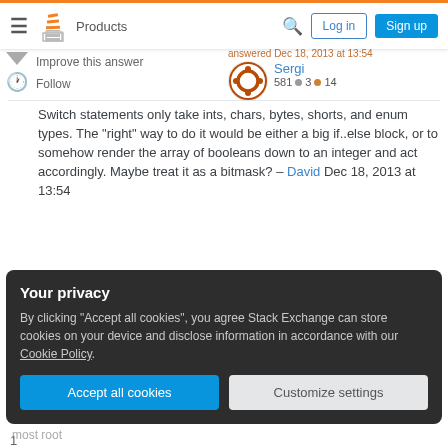Products | Log in | Sign up
Improve this answer
Follow
answered Dec 18, 2013 at 13:54
Sergi
581 ● 3 ● 14
Switch statements only take ints, chars, bytes, shorts, and enum types. The "right" way to do it would be either a big if..else block, or to somehow render the array of booleans down to an integer and act accordingly. Maybe treat it as a bitmask? – David Dec 18, 2013 at 13:54
1  Java switches also take strings – Bathsheba Dec 18, 2013 at 14:07
Your privacy
By clicking "Accept all cookies", you agree Stack Exchange can store cookies on your device and disclose information in accordance with our Cookie Policy.
Accept all cookies | Customize settings